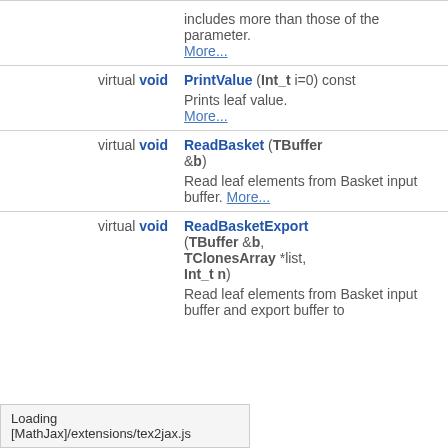| Modifier | Declaration |
| --- | --- |
| virtual void | PrintValue (Int_t i=0) const
Prints leaf value. More... |
| virtual void | ReadBasket (TBuffer &b)
Read leaf elements from Basket input buffer. More... |
| virtual void | ReadBasketExport (TBuffer &b, TClonesArray *list, Int_t n)
Read leaf elements from Basket input buffer and export buffer to |
includes more than those of the parameter. More...
Loading [MathJax]/extensions/tex2jax.js